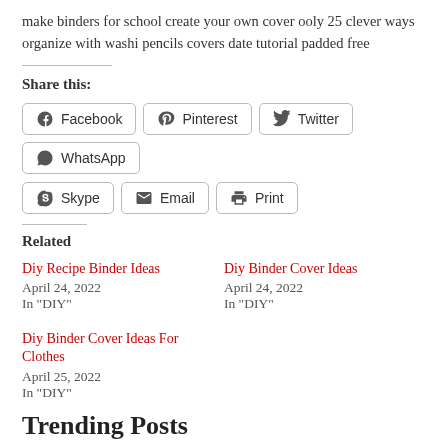make binders for school create your own cover ooly 25 clever ways organize with washi pencils covers date tutorial padded free
Share this:
Facebook | Pinterest | Twitter | WhatsApp | Skype | Email | Print
Related
Diy Recipe Binder Ideas
April 24, 2022
In "DIY"
Diy Binder Cover Ideas
April 24, 2022
In "DIY"
Diy Binder Cover Ideas For Clothes
April 25, 2022
In "DIY"
Trending Posts